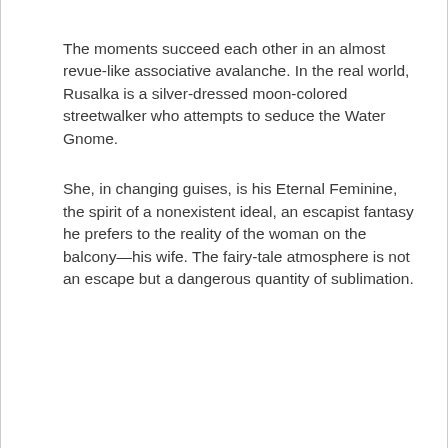The moments succeed each other in an almost revue-like associative avalanche. In the real world, Rusalka is a silver-dressed moon-colored streetwalker who attempts to seduce the Water Gnome.
She, in changing guises, is his Eternal Feminine, the spirit of a nonexistent ideal, an escapist fantasy he prefers to the reality of the woman on the balcony—his wife. The fairy-tale atmosphere is not an escape but a dangerous quantity of sublimation.